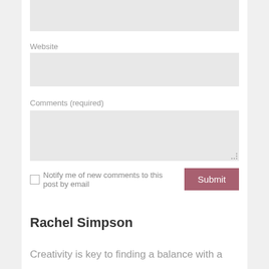Website
[Figure (screenshot): Website input text field (empty, light gray background)]
Comments (required)
[Figure (screenshot): Comments textarea (empty, light gray background, resize handle at bottom-right)]
Notify me of new comments to this post by email
[Figure (screenshot): Submit button, mauve/rose color]
Rachel Simpson
Creativity is key to finding a balance with a